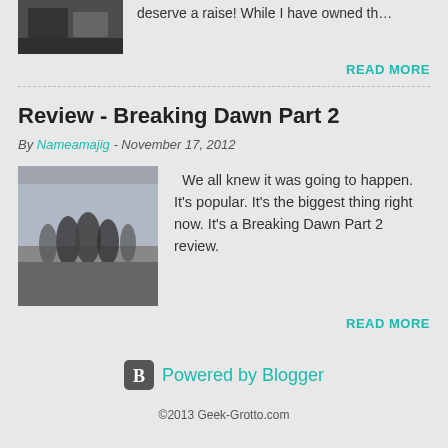deserve a raise! While I have owned th…
READ MORE
Review - Breaking Dawn Part 2
By Nameamajig - November 17, 2012
[Figure (photo): Movie poster for Breaking Dawn Part 2 showing characters running]
We all knew it was going to happen. It's popular. It's the biggest thing right now. It's a Breaking Dawn Part 2 review.
READ MORE
[Figure (logo): Powered by Blogger logo with B icon]
©2013 Geek-Grotto.com